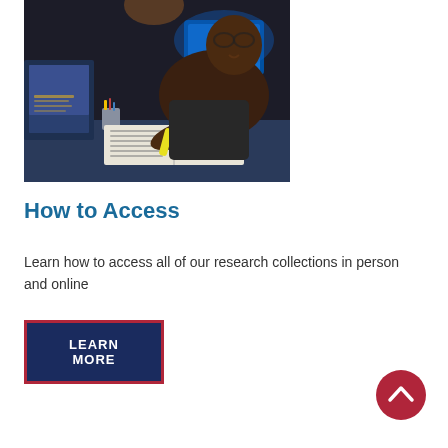[Figure (photo): A person studying at a desk with an open book and a yellow highlighter, illuminated by a computer screen and a lamp in a dimly lit room.]
How to Access
Learn how to access all of our research collections in person and online
LEARN MORE